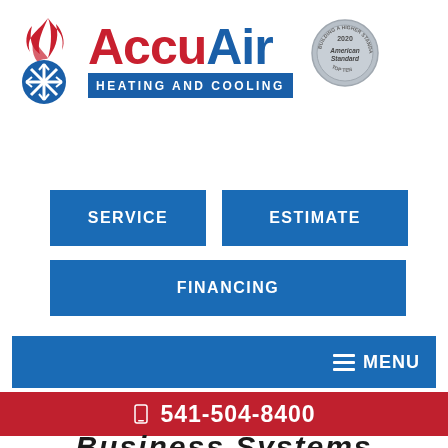[Figure (logo): AccuAir Heating and Cooling logo with flame and snowflake icon, red and blue text, and American Standard badge]
SERVICE
ESTIMATE
FINANCING
[Figure (other): Blue navigation menu bar with hamburger icon and MENU text]
541-504-8400
Business Systems